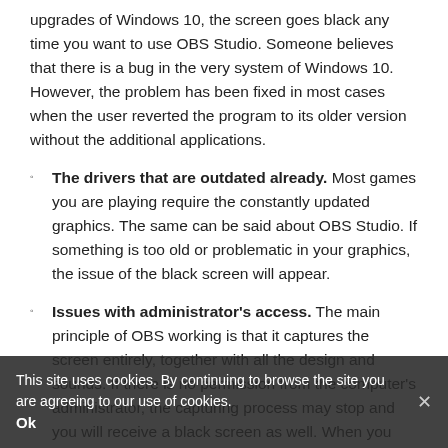upgrades of Windows 10, the screen goes black any time you want to use OBS Studio. Someone believes that there is a bug in the very system of Windows 10. However, the problem has been fixed in most cases when the user reverted the program to its older version without the additional applications.
The drivers that are outdated already. Most games you are playing require the constantly updated graphics. The same can be said about OBS Studio. If something is too old or problematic in your graphics, the issue of the black screen will appear.
Issues with administrator's access. The main principle of OBS working is that it captures the screen entirely, together with all the design and sounds. If there is no permission from the computer's administrator, the capturing process may stop and you will receive a black screen as well. When you provide the extended access and register as an admin, the problem will not appear again.
We are going to offer you some further solutions to the problem.
This site uses cookies. By continuing to browse the site you are agreeing to our use of cookies.